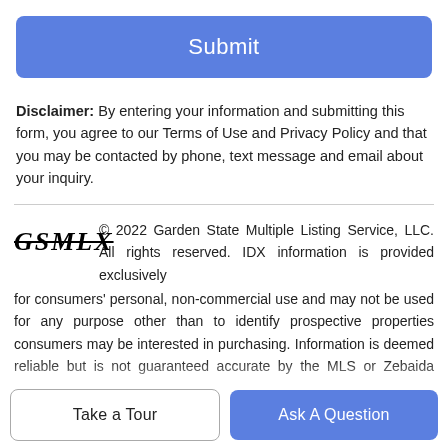Submit
Disclaimer: By entering your information and submitting this form, you agree to our Terms of Use and Privacy Policy and that you may be contacted by phone, text message and email about your inquiry.
[Figure (logo): GSMLX logo - stylized text with strikethrough]
© 2022 Garden State Multiple Listing Service, LLC. All rights reserved. IDX information is provided exclusively for consumers' personal, non-commercial use and may not be used for any purpose other than to identify prospective properties consumers may be interested in purchasing. Information is deemed reliable but is not guaranteed accurate by the MLS or Zebaida Group at Keller Williams Realty. Notice: The dissemination of listings on this website does not constitute the consent required by N.J.A.C. 11:5.6.1 (n) for the advertisement of listings exclusively for sale by another broker. Any such consent must be obtained in writing from the listing broker.The data relating to real estate for sale or lease on this web site comes in part from GSMLS. Real
Take a Tour
Ask A Question